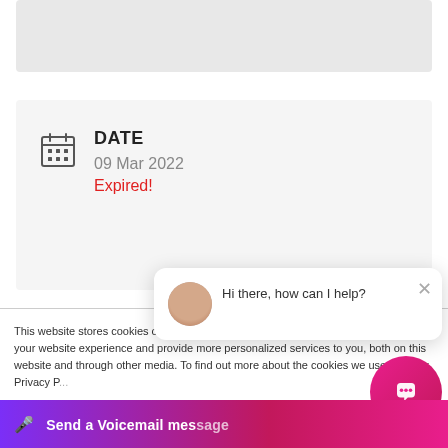[Figure (other): Gray card placeholder at the top of the page]
DATE
09 Mar 2022
Expired!
This website stores cookies on your computer. These cookies are used to improve your website experience and provide more personalized services to you, both on this website and through other media. To find out more about the cookies we use, see our Privacy P...
We won't track your... site. But in order to c... we'll have to use just... not asked to make this choice again.
[Figure (screenshot): Chat popup with avatar and message: Hi there, how can I help? with close X button]
[Figure (screenshot): Voicemail bar at bottom with mic icon and text: Send a Voicemail message]
[Figure (screenshot): Pink chat bubble button at bottom right]